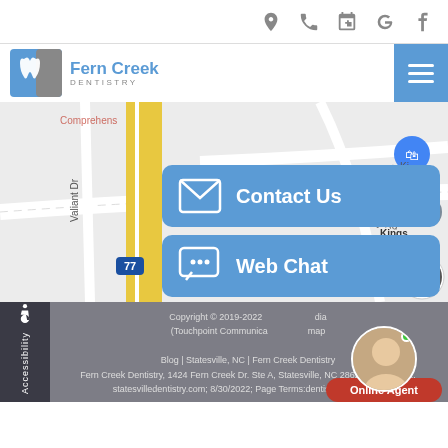Navigation icons: location, phone, calendar, Google, Facebook
[Figure (logo): Fern Creek Dentistry logo with tooth icon]
[Figure (map): Google Maps view showing Simonton Rd, Riley Rd, Valiant Dr, I-77, Kings Retirement area]
Contact Us
Web Chat
Copyright © 2019-2022 ... media (Touchpoint Communica... map
Blog | Statesville, NC | Fern Creek Dentistry
Fern Creek Dentistry, 1424 Fern Creek Dr. Ste A, Statesville, NC 28625; (704) 380...
statesvilledentistry.com; 8/30/2022; Page Terms:dentist Statesville...
Accessibility
Online Agent